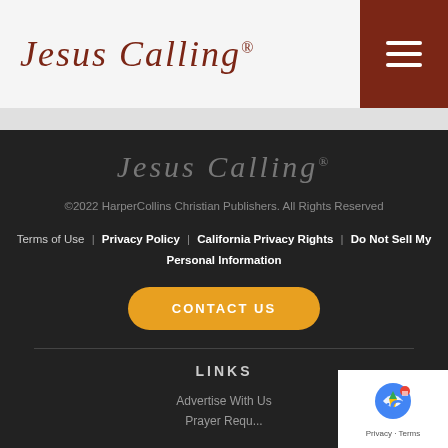Jesus Calling®
[Figure (logo): Jesus Calling® wordmark logo in dark red serif italic font]
Jesus Calling®
©2022 HarperCollins Christian Publishers. All Rights Reserved
Terms of Use | Privacy Policy | California Privacy Rights | Do Not Sell My Personal Information
CONTACT US
LINKS
Advertise With Us
Prayer Requests